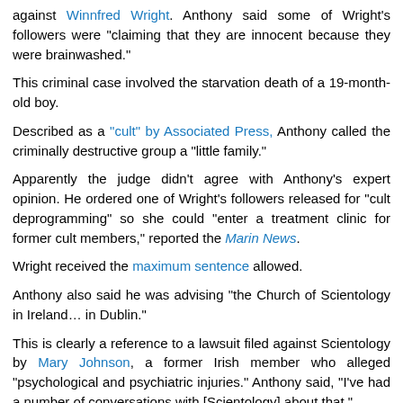against Winnfred Wright. Anthony said some of Wright's followers were "claiming that they are innocent because they were brainwashed."
This criminal case involved the starvation death of a 19-month-old boy.
Described as a "cult" by Associated Press, Anthony called the criminally destructive group a "little family."
Apparently the judge didn't agree with Anthony's expert opinion. He ordered one of Wright's followers released for "cult deprogramming" so she could "enter a treatment clinic for former cult members," reported the Marin News.
Wright received the maximum sentence allowed.
Anthony also said he was advising "the Church of Scientology in Ireland… in Dublin."
This is clearly a reference to a lawsuit filed against Scientology by Mary Johnson, a former Irish member who alleged "psychological and psychiatric injuries." Anthony said, "I've had a number of conversations with [Scientology] about that."
But despite those "conversations," Scientology decided pay off Johnson